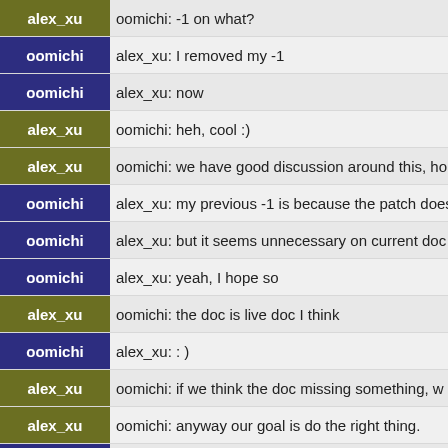alex_xu | oomichi: -1 on what?
oomichi | alex_xu: I removed my -1
oomichi | alex_xu: now
alex_xu | oomichi: heh, cool :)
alex_xu | oomichi: we have good discussion around this, ho...
oomichi | alex_xu: my previous -1 is because the patch does...
oomichi | alex_xu: but it seems unnecessary on current doc
oomichi | alex_xu: yeah, I hope so
alex_xu | oomichi: the doc is live doc I think
oomichi | alex_xu: : )
alex_xu | oomichi: if we think the doc missing something, w...
alex_xu | oomichi: anyway our goal is do the right thing.
oomichi | alex_xu: yeah, but validation change seems still a...
oomichi | alex_xu: concensus is necessary around this
*** VW_ has joined #openstack-nova
alex_xu | oomichi: yea, we need think about those be carefu...
alex_xu | oomichi: this one https://review.openstack.org/#/c/...
alex_xu | oomichi: because it is bug
oomichi | alex_xu: ok, I can be out of today irc meeting beca...
alex_xu | oomichi: but this one https://review.openstack.org/...
alex_xu | oomichi: no problem, I bring your opinion to the...